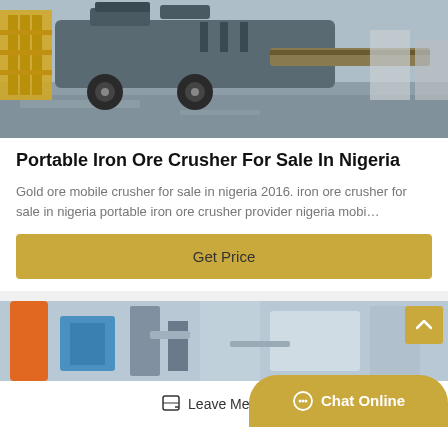[Figure (photo): Industrial portable iron ore crusher machine on a wet concrete surface with yellow scaffolding structure visible on left and grey sky background.]
Portable Iron Ore Crusher For Sale In Nigeria
Gold ore mobile crusher for sale in nigeria 2016. iron ore crusher for sale in nigeria portable iron ore crusher provider nigeria mobi…
Get Price
[Figure (photo): Industrial machinery parts close-up showing orange, blue and grey mechanical components.]
Leave Message
Chat Online